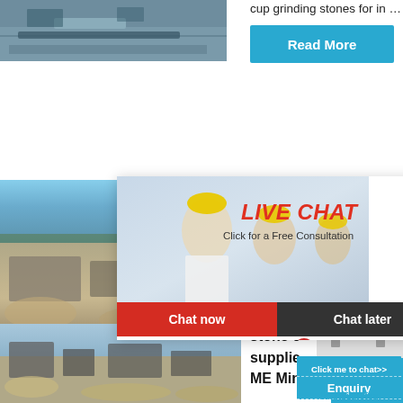[Figure (photo): Aerial view of a mining/quarry site with machinery and conveyor belts]
cup grinding stones for in …
Read More
[Figure (photo): Outdoor quarry site with heavy machinery and sand piles]
[Figure (photo): Live chat overlay with workers in hard hats and a smiling woman in white shirt; LIVE CHAT heading, Click for a Free Consultation, Chat now and Chat later buttons]
LIVE CHAT
Click for a Free Consultation
Chat now
Chat later
Wheels
hour online
[Figure (photo): Industrial crusher/jaw crusher machine in white/grey color with red flywheel]
Click me to chat>>
Enquiry
limingjlmofen
[Figure (photo): Stone crushing plant/quarry machinery at a construction site outdoors]
stone c
supplie
ME Min